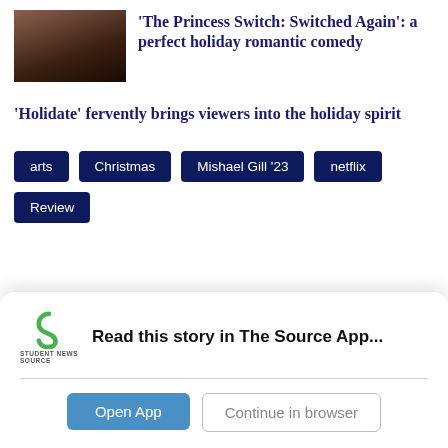[Figure (photo): Thumbnail image, dark warm tones, appears to be a scene from a movie or show]
'The Princess Switch: Switched Again': a perfect holiday romantic comedy
'Holidate' fervently brings viewers into the holiday spirit
arts
Christmas
Mishael Gill '23
netflix
Review
Read this story in The Source App...
Open App
Continue in browser